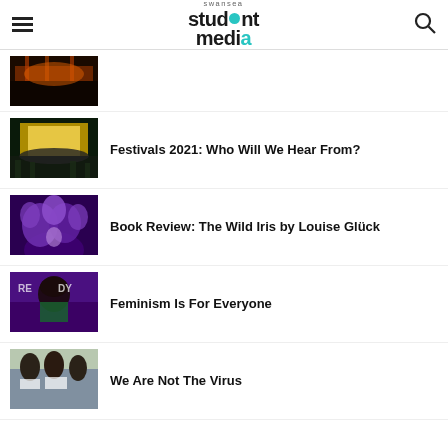Swansea Student Media
[Figure (photo): Concert stage with orange/red lighting, partial view at top]
Festivals 2021: Who Will We Hear From?
[Figure (photo): Festival crowd with large bright LED screen on stage]
Book Review: The Wild Iris by Louise Glück
[Figure (photo): Person surrounded by large purple flowers/irises]
Feminism Is For Everyone
[Figure (photo): Woman with afro hair in front of purple READY backdrop]
We Are Not The Virus
[Figure (photo): Protest scene with people holding signs]